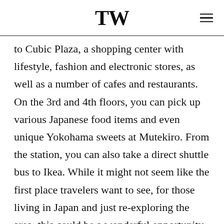TW
to Cubic Plaza, a shopping center with lifestyle, fashion and electronic stores, as well as a number of cafes and restaurants. On the 3rd and 4th floors, you can pick up various Japanese food items and even unique Yokohama sweets at Mutekiro. From the station, you can also take a direct shuttle bus to Ikea. While it might not seem like the first place travelers want to see, for those living in Japan and just re-exploring the area, this could be a wonderful opportunity to spot something new for your home or office. Or just